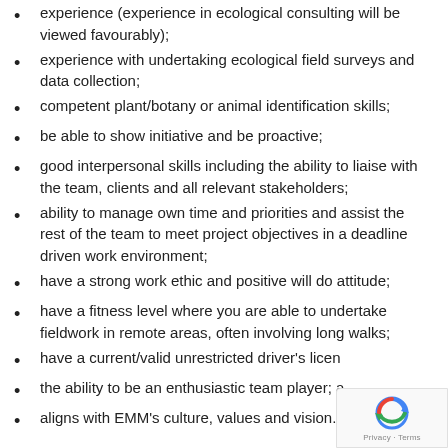experience (experience in ecological consulting will be viewed favourably);
experience with undertaking ecological field surveys and data collection;
competent plant/botany or animal identification skills;
be able to show initiative and be proactive;
good interpersonal skills including the ability to liaise with the team, clients and all relevant stakeholders;
ability to manage own time and priorities and assist the rest of the team to meet project objectives in a deadline driven work environment;
have a strong work ethic and positive will do attitude;
have a fitness level where you are able to undertake fieldwork in remote areas, often involving long walks;
have a current/valid unrestricted driver's licen…
the ability to be an enthusiastic team player; a…
aligns with EMM's culture, values and vision.